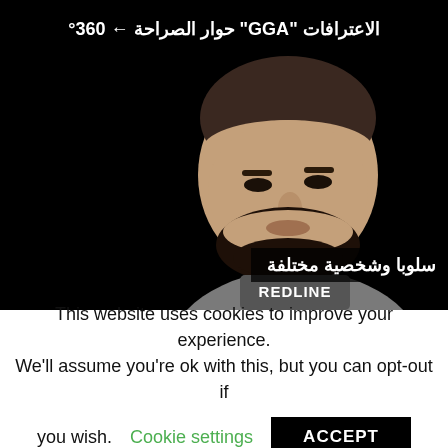[Figure (screenshot): Video screenshot showing a man with short hair and beard wearing a gray 'REDLINE' t-shirt, on a black background. Arabic text overlay at top reads: الاعترافات 'GGA' حوار الصراحة ← 360°. Arabic text overlay at bottom right reads: سلوبا وشخصية مختلفة]
This website uses cookies to improve your experience. We'll assume you're ok with this, but you can opt-out if you wish. Cookie settings ACCEPT